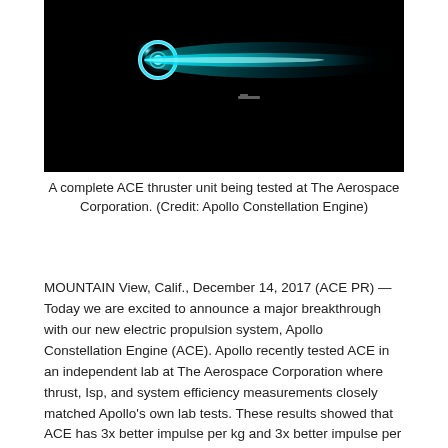[Figure (photo): A photograph of an ACE thruster unit firing, showing a bright cyan/teal plasma plume against a black background. The thruster appears as a bright ring on the left with a long glowing teal beam extending to the right.]
A complete ACE thruster unit being tested at The Aerospace Corporation. (Credit: Apollo Constellation Engine)
MOUNTAIN View, Calif., December 14, 2017 (ACE PR) — Today we are excited to announce a major breakthrough with our new electric propulsion system, Apollo Constellation Engine (ACE). Apollo recently tested ACE in an independent lab at The Aerospace Corporation where thrust, Isp, and system efficiency measurements closely matched Apollo’s own lab tests. These results showed that ACE has 3x better impulse per kg and 3x better impulse per liter than competing